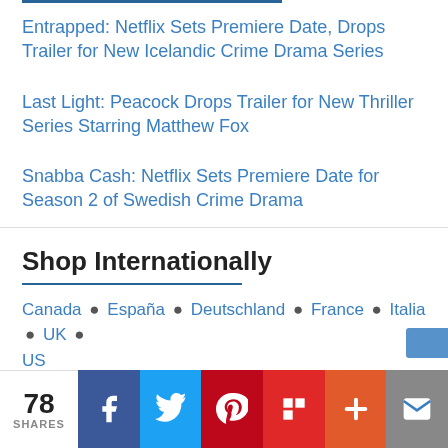Entrapped: Netflix Sets Premiere Date, Drops Trailer for New Icelandic Crime Drama Series
Last Light: Peacock Drops Trailer for New Thriller Series Starring Matthew Fox
Snabba Cash: Netflix Sets Premiere Date for Season 2 of Swedish Crime Drama
Shop Internationally
Canada • España • Deutschland • France • Italia • UK • US
Get basic cable channels without a cable subscription. Get Philo.
78 SHARES | Facebook | Twitter | Pinterest | Flipboard | More | Email